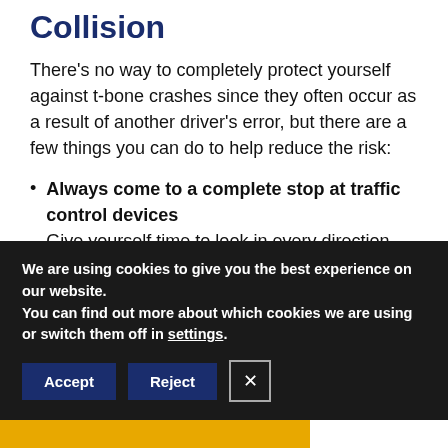Collision
There’s no way to completely protect yourself against t-bone crashes since they often occur as a result of another driver’s error, but there are a few things you can do to help reduce the risk:
Always come to a complete stop at traffic control devices
Give yourself time to look in every direction before proceeding into an
We are using cookies to give you the best experience on our website.
You can find out more about which cookies we are using or switch them off in settings.